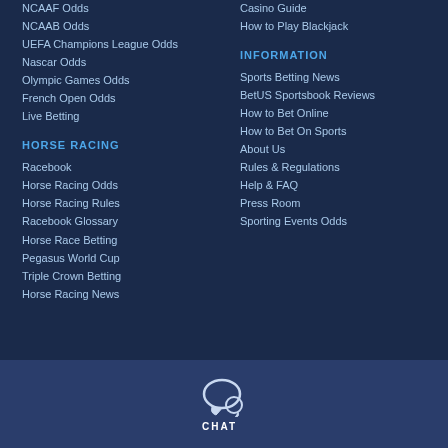NCAAF Odds
NCAAB Odds
UEFA Champions League Odds
Nascar Odds
Olympic Games Odds
French Open Odds
Live Betting
Casino Guide
How to Play Blackjack
HORSE RACING
Racebook
Horse Racing Odds
Horse Racing Rules
Racebook Glossary
Horse Race Betting
Pegasus World Cup
Triple Crown Betting
Horse Racing News
INFORMATION
Sports Betting News
BetUS Sportsbook Reviews
How to Bet Online
How to Bet On Sports
About Us
Rules & Regulations
Help & FAQ
Press Room
Sporting Events Odds
[Figure (illustration): Chat bubble icon with CHAT label below]